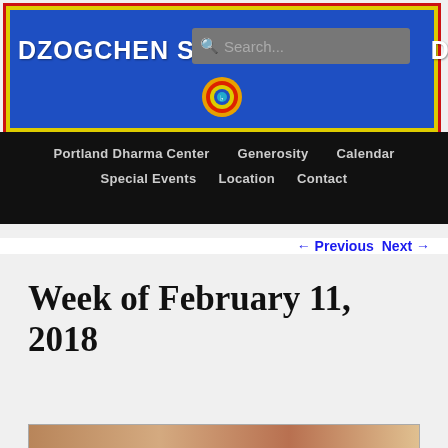[Figure (screenshot): Dzogchen Shrine website header banner with blue background, yellow and red border, white text 'DZOGCHEN SHR...D', search box, and dharma wheel logo]
Portland Dharma Center   Generosity   Calendar   Special Events   Location   Contact
← Previous   Next →
Week of February 11, 2018
[Figure (photo): Partial photo visible at bottom of page]